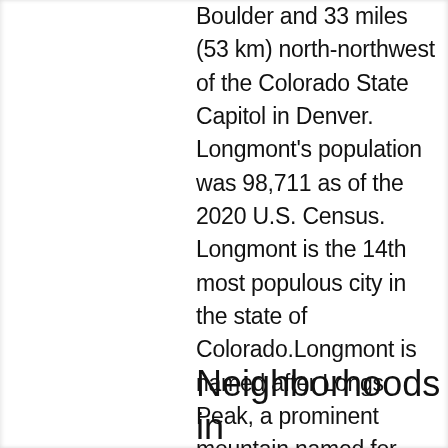Boulder and 33 miles (53 km) north-northwest of the Colorado State Capitol in Denver. Longmont's population was 98,711 as of the 2020 U.S. Census. Longmont is the 14th most populous city in the state of Colorado.Longmont is named after Longs Peak, a prominent mountain named for explorer Stephen H. Long that is clearly visible from Longmont, and "mont", from the French word "montagne" for mountain. == History == Longmont was founded in 1871 by a group of people from Chicago, Illinois.
Neighborhoods in